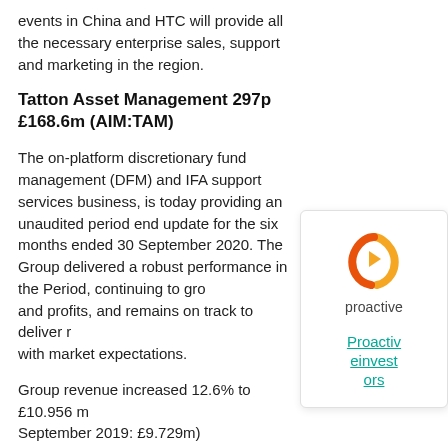events in China and HTC will provide all the necessary enterprise sales, support and marketing in the region.
Tatton Asset Management 297p £168.6m (AIM:TAM)
The on-platform discretionary fund management (DFM) and IFA support services business, is today providing an unaudited period end update for the six months ended 30 September 2020. The Group delivered a robust performance in the Period, continuing to grow assets and profits, and remains on track to deliver results in line with market expectations.
Group revenue increased 12.6% to £10.956 million (30 September 2019: £9.729m)
Group adjusted operating profit1 increased to £5.030 million (30 September 2019: £4.126m)
[Figure (logo): Proactive Investors logo: orange hexagon-style icon above the word 'proactive' in grey, with a teal/cyan hyperlink 'Proactiveinvestors' below]